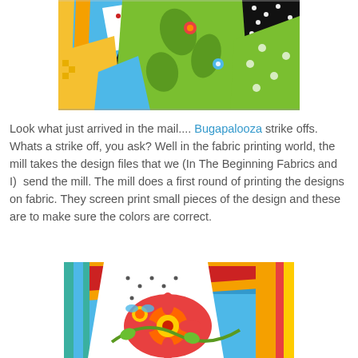[Figure (photo): Colorful quilting fabrics with various patterns — polka dots, florals, stripes, checks — in blue, yellow, green, red, black and white arranged in a patchwork layout]
Look what just arrived in the mail.... Bugapalooza strike offs. Whats a strike off, you ask? Well in the fabric printing world, the mill takes the design files that we (In The Beginning Fabrics and I)  send the mill. The mill does a first round of printing the designs on fabric. They screen print small pieces of the design and these are to make sure the colors are correct.
[Figure (photo): Close-up of colorful fabric strike offs featuring bright floral and geometric patterns with blues, reds, oranges, yellows and greens]